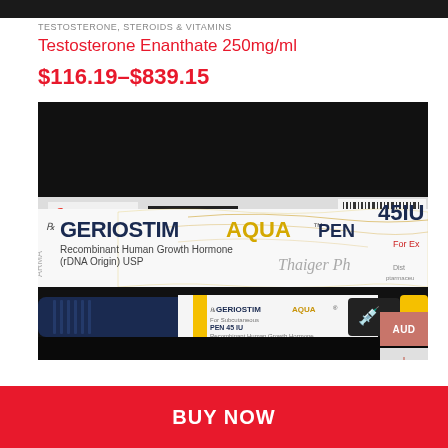TESTOSTERONE, STEROIDS & VITAMINS
Testosterone Enanthate 250mg/ml
$116.19–$839.15
[Figure (photo): Product photo showing Geriostim Aqua PEN 45IU box and injection pen by Thaiger Pharma. Box shows 'GERIOSTIM AQUA PEN 45IU Recombinant Human Growth Hormone (rDNA Origin) USP'. The pen is white and navy with yellow bands.]
BUY NOW